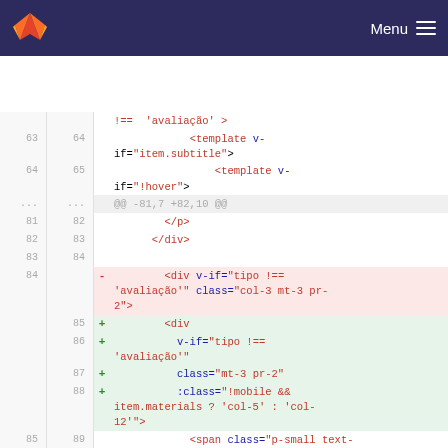GitLab navigation bar with logo and Menu
[Figure (screenshot): Code diff view showing Vue.js template HTML changes, lines 63-89, with removed line (84) highlighted in red and added lines (85-88) highlighted in green.]